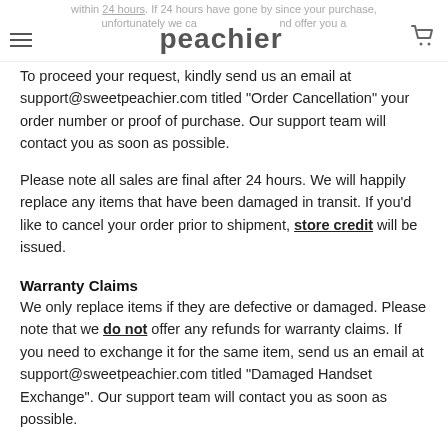within 24 hours. If 24 hours have gone by since your purchase, unfortunately we cannot cancel your order and offer you a [hamburger] peachier [cart]
To proceed your request, kindly send us an email at support@sweetpeachier.com titled "Order Cancellation" your order number or proof of purchase. Our support team will contact you as soon as possible.
Please note all sales are final after 24 hours. We will happily replace any items that have been damaged in transit. If you'd like to cancel your order prior to shipment, store credit will be issued.
Warranty Claims
We only replace items if they are defective or damaged. Please note that we do not offer any refunds for warranty claims. If you need to exchange it for the same item, send us an email at support@sweetpeachier.com titled "Damaged Handset Exchange". Our support team will contact you as soon as possible.
100 Day Guarantee